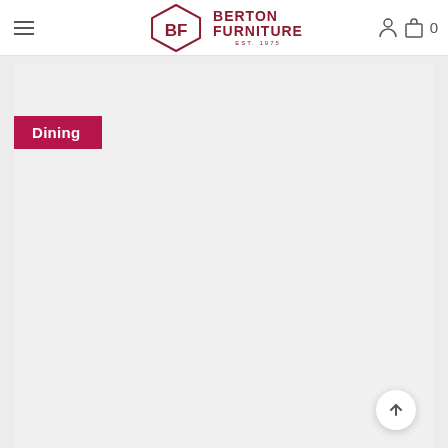[Figure (logo): Berton Furniture logo with hexagonal BF emblem and company name in dark red, 'EST. 1975' subtitle]
Berton Furniture website header with hamburger menu, logo, account icon, bag icon, and cart count 0
Dining